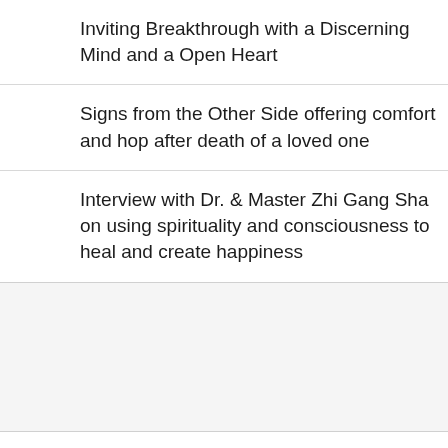Inviting Breakthrough with a Discerning Mind and an Open Heart
Signs from the Other Side offering comfort and hope after death of a loved one
Interview with Dr. & Master Zhi Gang Sha on using spirituality and consciousness to heal and create happiness
[Figure (photo): Headshot of a man with light brown/blonde hair, photographed outdoors with green bokeh background]